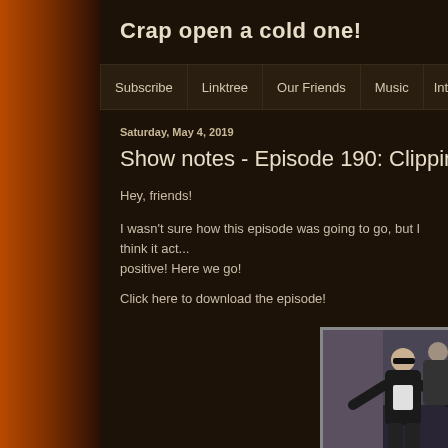Crap open a cold one!
Subscribe | Linktree | Our Friends | Music | Interviews
Saturday, May 4, 2019
Show notes - Episode 190: Clipping in...
Hey, friends!
I wasn't sure how this episode was going to go, but I think it actually turned out pretty positive! Here we go!
Click here to download the episode!
[Figure (photo): Screenshot from what appears to be a TV show, showing two people in an indoor setting]